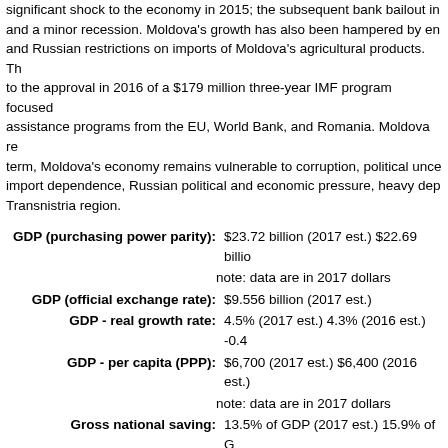significant shock to the economy in 2015; the subsequent bank bailout in and a minor recession. Moldova's growth has also been hampered by en and Russian restrictions on imports of Moldova's agricultural products. Th to the approval in 2016 of a $179 million three-year IMF program focused assistance programs from the EU, World Bank, and Romania. Moldova re term, Moldova's economy remains vulnerable to corruption, political unce import dependence, Russian political and economic pressure, heavy dep Transnistria region.
GDP (purchasing power parity): $23.72 billion (2017 est.) $22.69 billio
note: data are in 2017 dollars
GDP (official exchange rate): $9.556 billion (2017 est.)
GDP - real growth rate: 4.5% (2017 est.) 4.3% (2016 est.) -0.4
GDP - per capita (PPP): $6,700 (2017 est.) $6,400 (2016 est.)
note: data are in 2017 dollars
Gross national saving: 13.5% of GDP (2017 est.) 15.9% of G household consumption: 85.8% (2017 21.9% (2017 est.) investment in inven imports of goods and services: -70.7% est.) industry: 20.3% (2017 est.) servi
Agriculture - products: vegetables, fruits, grapes, grain, suga
Industries: sugar processing, vegetable oil, food freezers, washing machines; hosiery,
Industrial production growth rate: 3% (2017 est.)
Labor force: 1.295 million (2017 est.)
Labor force - by occupation: agriculture: 22.3%